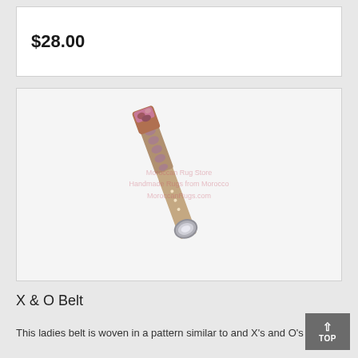$28.00
[Figure (photo): A ladies woven belt with pink and brown decorative top end and metallic oval buckle, displayed diagonally on white background with a watermark overlay reading 'Moroccan Rug Store' and 'MoroccanRugs.com']
X & O Belt
This ladies belt is woven in a pattern similar to and X's and O's